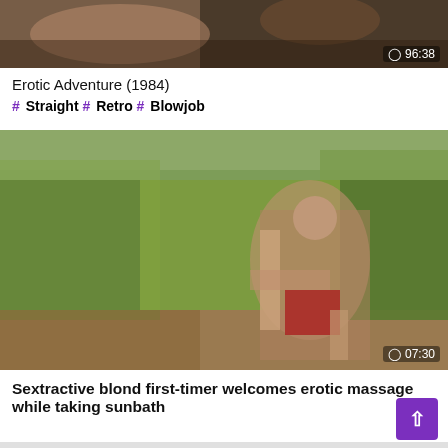[Figure (photo): Top thumbnail strip showing partial adult video content with timer overlay showing 96:38]
Erotic Adventure (1984)
# Straight # Retro # Blowjob
[Figure (photo): Outdoor video thumbnail showing two people near tall grass/reeds, with timer overlay showing 07:30]
Sextractive blond first-timer welcomes erotic massage while taking sunbath